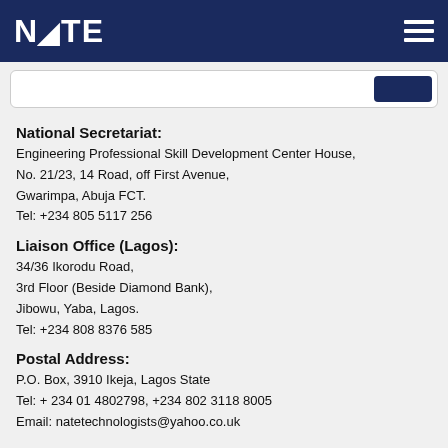NATE
National Secretariat:
Engineering Professional Skill Development Center House, No. 21/23, 14 Road, off First Avenue, Gwarimpa, Abuja FCT. Tel: +234 805 5117 256
Liaison Office (Lagos):
34/36 Ikorodu Road, 3rd Floor (Beside Diamond Bank), Jibowu, Yaba, Lagos. Tel: +234 808 8376 585
Postal Address:
P.O. Box, 3910 Ikeja, Lagos State Tel: + 234 01 4802798, +234 802 3118 8005 Email: natetechnologists@yahoo.co.uk